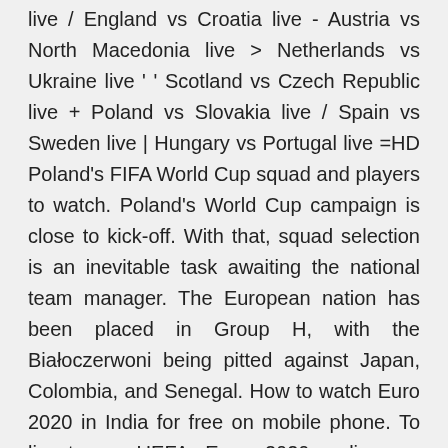live / England vs Croatia live - Austria vs North Macedonia live > Netherlands vs Ukraine live ' ' Scotland vs Czech Republic live + Poland vs Slovakia live / Spain vs Sweden live | Hungary vs Portugal live =HD Poland's FIFA World Cup squad and players to watch. Poland's World Cup campaign is close to kick-off. With that, squad selection is an inevitable task awaiting the national team manager. The European nation has been placed in Group H, with the Białoczerwoni being pitted against Japan, Colombia, and Senegal. How to watch Euro 2020 in India for free on mobile phone. To livestream UEFA Euro 2020 online on mobile phone without SonyLIV subscription, all you need is an active Jio number. The active number will give you access to the telco's live TV app, which you can use to watch all Euro 2020 matches live for free on mobile phones.